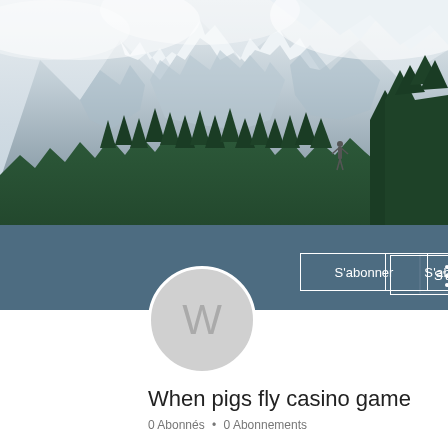[Figure (photo): Mountain landscape with snow-capped peaks, dense green forest in the foreground, misty clouds around peaks, and a person with arms raised standing among the trees. Banner/cover photo for a social media profile.]
When pigs fly casino game
0 Abonnés • 0 Abonnements